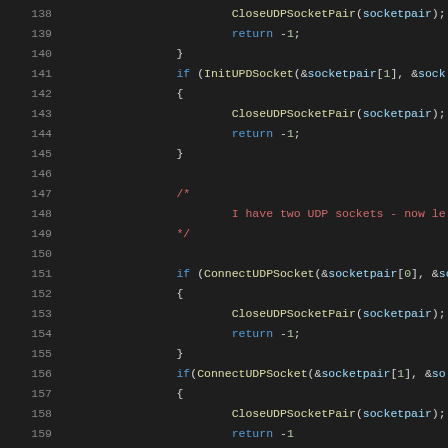[Figure (screenshot): Source code listing showing C code with syntax highlighting, lines 138-159. Dark background (IDE/editor style). Functions CloseUDPSocketPair, InitUPDSocket, ConnectUDPSocket with parameters socketpair.]